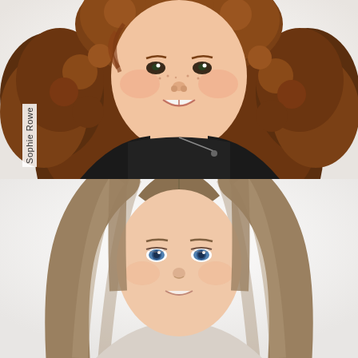[Figure (photo): Portrait photo of a young girl with curly reddish-brown hair, smiling, wearing a black jacket, against a white background. Name label 'Sophie Rowe' shown vertically on left side.]
Sophie Rowe
[Figure (photo): Portrait photo of a young girl with long straight light brown/dirty blonde hair and blue eyes, smiling slightly, against a white background.]